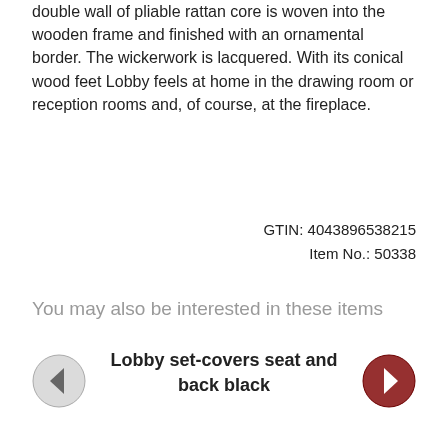double wall of pliable rattan core is woven into the wooden frame and finished with an ornamental border. The wickerwork is lacquered. With its conical wood feet Lobby feels at home in the drawing room or reception rooms and, of course, at the fireplace.
GTIN: 4043896538215
Item No.: 50338
You may also be interested in these items
Lobby set-covers seat and back black